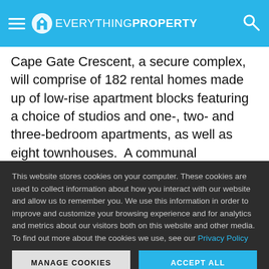EVERYTHING PROPERTY
Cape Gate Crescent, a secure complex, will comprise of 182 rental homes made up of low-rise apartment blocks featuring a choice of studios and one-, two- and three-bedroom apartments, as well as eight townhouses.  A communal swimming pool, braai area and ample green
This website stores cookies on your computer. These cookies are used to collect information about how you interact with our website and allow us to remember you. We use this information in order to improve and customize your browsing experience and for analytics and metrics about our visitors both on this website and other media. To find out more about the cookies we use, see our Privacy Policy
MANAGE COOKIES
ACCEPT ALL